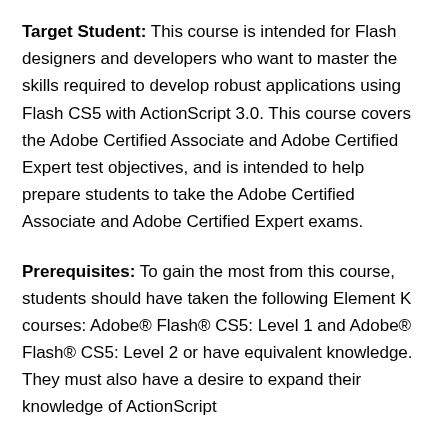Target Student: This course is intended for Flash designers and developers who want to master the skills required to develop robust applications using Flash CS5 with ActionScript 3.0. This course covers the Adobe Certified Associate and Adobe Certified Expert test objectives, and is intended to help prepare students to take the Adobe Certified Associate and Adobe Certified Expert exams.
Prerequisites: To gain the most from this course, students should have taken the following Element K courses: Adobe® Flash® CS5: Level 1 and Adobe® Flash® CS5: Level 2 or have equivalent knowledge. They must also have a desire to expand their knowledge of ActionScript